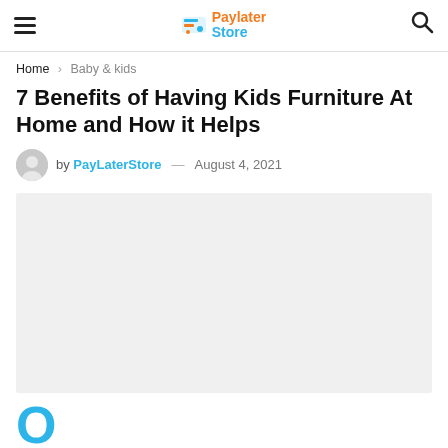PayLater Store — navigation header with hamburger menu, logo, and search icon
Home > Baby & kids
7 Benefits of Having Kids Furniture At Home and How it Helps
by PayLaterStore — August 4, 2021
[Figure (photo): Featured article image placeholder (light grey rectangle)]
O